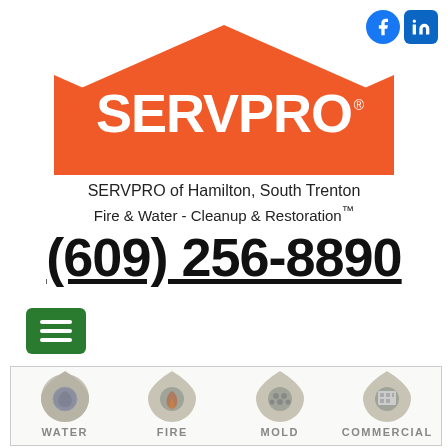[Figure (logo): SERVPRO orange house/roof logo with white SERVPRO text]
SERVPRO of Hamilton, South Trenton
Fire & Water - Cleanup & Restoration™
(609) 256-8890
[Figure (other): Green hamburger menu button]
[Figure (infographic): Four service icons in a box: Water, Fire, Mold, Commercial]